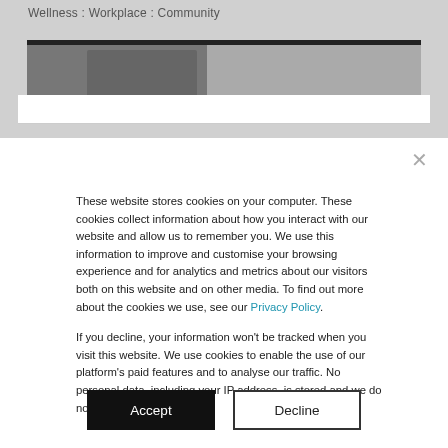Wellness : Workplace : Community
[Figure (photo): Partial photo visible behind cookie consent overlay, showing what appears to be a hand or fist in greyscale tones.]
These website stores cookies on your computer. These cookies collect information about how you interact with our website and allow us to remember you. We use this information to improve and customise your browsing experience and for analytics and metrics about our visitors both on this website and on other media. To find out more about the cookies we use, see our Privacy Policy.

If you decline, your information won't be tracked when you visit this website. We use cookies to enable the use of our platform's paid features and to analyse our traffic. No personal data, including your IP address, is stored and we do not sell data to third parties.
Accept
Decline